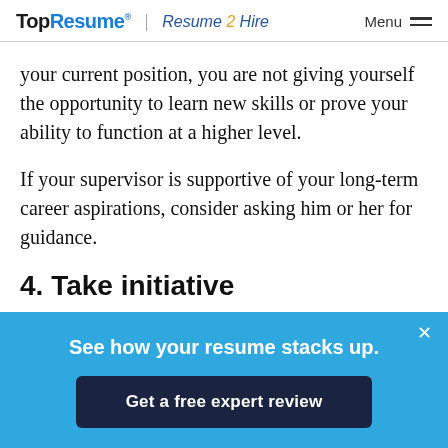TopResume® | Resume 2 Hire  Menu
your current position, you are not giving yourself the opportunity to learn new skills or prove your ability to function at a higher level.
If your supervisor is supportive of your long-term career aspirations, consider asking him or her for guidance.
4. Take initiative
[Figure (infographic): Blue banner popup with text 'See how your resume stacks up.' and a dark navy button 'Get a free expert review' with a close X button in the top right.]